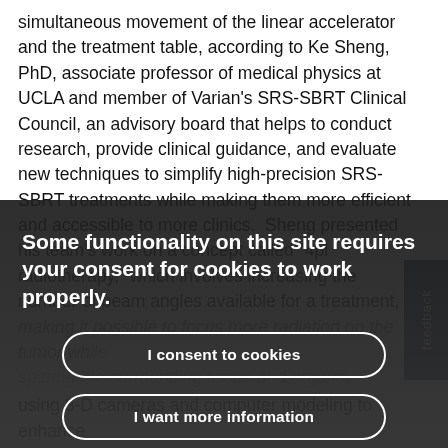simultaneous movement of the linear accelerator and the treatment table, according to Ke Sheng, PhD, associate professor of medical physics at UCLA and member of Varian's SRS-SBRT Clinical Council, an advisory board that helps to conduct research, provide clinical guidance, and evaluate new techniques to simplify high-precision SRS-SBRT treatments while making them more efficient and accessible to more clinics.  Sheng presented his team's work on a concept called "4pi radiotherapy," which involves increasing the number of beam angles available for a treatment,
making it possible to focus more radiation on the tumor while sparing the surrounding tissue and organs.
Some functionality on this site requires your consent for cookies to work properly.
I consent to cookies
I want more information
using 3-D cameras and computer modeling to enhance